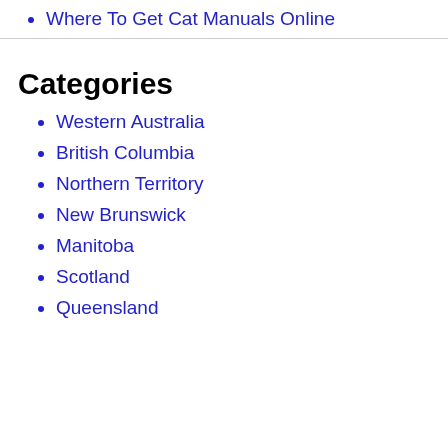Where To Get Cat Manuals Online
Categories
Western Australia
British Columbia
Northern Territory
New Brunswick
Manitoba
Scotland
Queensland